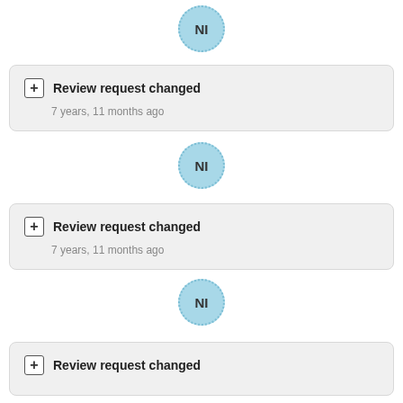[Figure (other): Avatar circle with initials NI, light blue with dotted border]
Review request changed
7 years, 11 months ago
[Figure (other): Avatar circle with initials NI, light blue with dotted border]
Review request changed
7 years, 11 months ago
[Figure (other): Avatar circle with initials NI, light blue with dotted border]
Review request changed